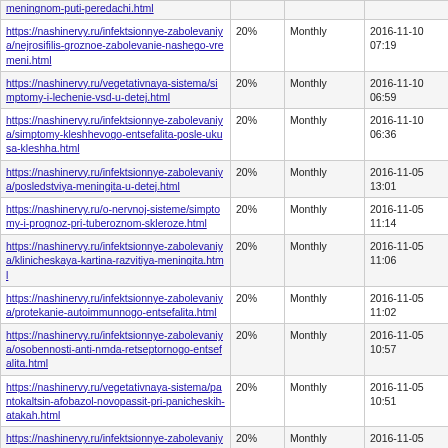| https://nashinervy.ru/meningnom-puti-peredachi.html (partial) | 20% | Monthly | 2016-11-10 07:19 |
| https://nashinervy.ru/infektsionnye-zabolevaniya/nejrosifilis-groznoe-zabolevanie-nashego-vremeni.html | 20% | Monthly | 2016-11-10 07:19 |
| https://nashinervy.ru/vegetativnaya-sistema/simptomy-i-lechenie-vsd-u-detej.html | 20% | Monthly | 2016-11-10 06:59 |
| https://nashinervy.ru/infektsionnye-zabolevaniya/simptomy-kleshhevogo-entsefalita-posle-ukusa-kleshha.html | 20% | Monthly | 2016-11-10 06:36 |
| https://nashinervy.ru/infektsionnye-zabolevaniya/posledstviya-meningita-u-detej.html | 20% | Monthly | 2016-11-05 13:01 |
| https://nashinervy.ru/o-nervnoj-sisteme/simptomy-i-prognoz-pri-tuberoznom-skleroze.html | 20% | Monthly | 2016-11-05 11:14 |
| https://nashinervy.ru/infektsionnye-zabolevaniya/klinicheskaya-kartina-razvitiya-meningita.html | 20% | Monthly | 2016-11-05 11:06 |
| https://nashinervy.ru/infektsionnye-zabolevaniya/protekanie-autoimmunnogo-entsefalita.html | 20% | Monthly | 2016-11-05 11:02 |
| https://nashinervy.ru/infektsionnye-zabolevaniya/osobennosti-anti-nmda-retseptornogo-entsefalita.html | 20% | Monthly | 2016-11-05 10:57 |
| https://nashinervy.ru/vegetativnaya-sistema/pantokaltsin-afobazol-novopassit-pri-panicheskih-atakah.html | 20% | Monthly | 2016-11-05 10:51 |
| https://nashinervy.ru/infektsionnye-zabolevaniya/opasnost-borrelioza-pri-beremennosti.html | 20% | Monthly | 2016-11-05 10:41 |
| https://nashinervy.ru/perifericheskaya-nervnaya-sistema/simptomy-i-lechenie-nevrita-trojnichnogo-nerva.html | 20% | Monthly | 2018-03-15 10:00 |